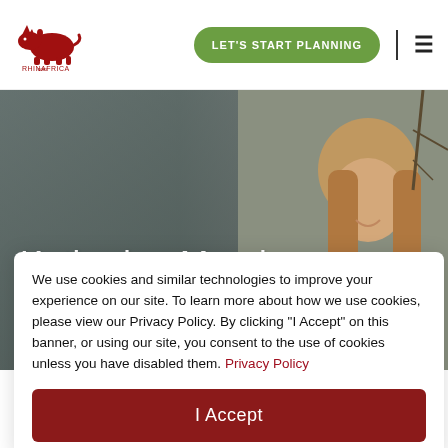RhinAfrica.com — LET'S START PLANNING
Katharina Mandy
Marketing & Communications | German Content Writer
We use cookies and similar technologies to improve your experience on our site. To learn more about how we use cookies, please view our Privacy Policy. By clicking "I Accept" on this banner, or using our site, you consent to the use of cookies unless you have disabled them. Privacy Policy
I Accept
now she's looking forward to unpacking her suitcases for